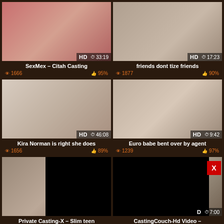[Figure (screenshot): Video thumbnail: SexMex - Citah Casting, HD, 33:19, 1666 views, 95% likes]
[Figure (screenshot): Video thumbnail: friends dont tize friends, HD, 17:23, 1877 views, 90% likes]
[Figure (screenshot): Video thumbnail: Kira Norman is right she does, HD, 46:08, 1656 views, 89% likes]
[Figure (screenshot): Video thumbnail: Euro babe bent over by agent, HD, 9:42, 1239 views, 97% likes]
[Figure (screenshot): Video thumbnail: Private Casting-X - Slim teen, partially obscured by ad overlay]
[Figure (screenshot): Video thumbnail: CastingCouch-Hd Video -, HD, 7:00, partially obscured by ad overlay with X close button]